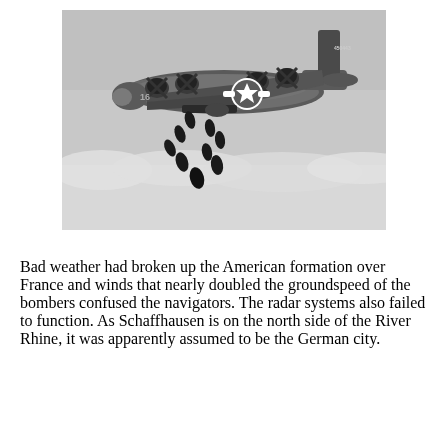[Figure (photo): Black and white World War II photograph of a B-24 Liberator bomber aircraft in flight, dropping bombs. The aircraft has US Army Air Forces markings including a star insignia on the fuselage and the tail number 450443. Several bombs are visible falling below the aircraft. Clouds are visible in the background below.]
Bad weather had broken up the American formation over France and winds that nearly doubled the groundspeed of the bombers confused the navigators. The radar systems also failed to function. As Schaffhausen is on the north side of the River Rhine, it was apparently assumed to be the German city.